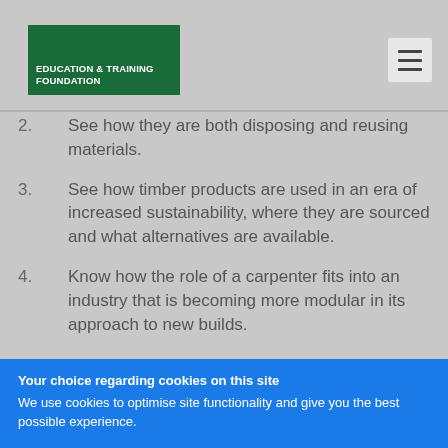EDUCATION & TRAINING FOUNDATION
2. See how they are both disposing and reusing materials.
3. See how timber products are used in an era of increased sustainability, where they are sourced and what alternatives are available.
4. Know how the role of a carpenter fits into an industry that is becoming more modular in its approach to new builds.
Your choice regarding cookies on this site
We use cookies to optimise site functionality and give you the best possible experience.